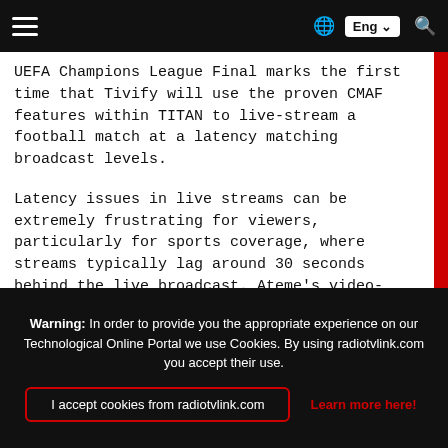Navigation bar with hamburger menu, globe icon, Eng language selector, and search icon
UEFA Champions League Final marks the first time that Tivify will use the proven CMAF features within TITAN to live-stream a football match at a latency matching broadcast levels.
Latency issues in live streams can be extremely frustrating for viewers, particularly for sports coverage, where streams typically lag around 30 seconds behind the live broadcast. Ateme’s video-delivery solutions enable low latency, bringing a vastly improved live-streaming experience to viewers by eliminating the “spoiler effect” caused by neighbors’ reactions occurring seconds before the action that triggered them is streamed to screens.
Francisco Sáez, Executive Director of Technology &
Warning: In order to provide you the appropriate experience on our Technological Online Portal we use Cookies. By using radiotvlink.com you accept their use. | I accept cookies from radiotvlink.com | Learn more here!